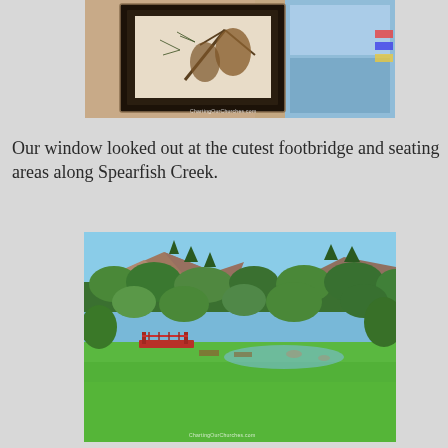[Figure (photo): Indoor photo of a framed botanical print showing a pine cone branch, hanging on a beige wall, with a blue window or door visible to the right. The frame is dark/black. Watermark reads 'ChartingOurChurches.com'.]
Our window looked out at the cutest footbridge and seating areas along Spearfish Creek.
[Figure (photo): Outdoor photo looking out a window at a green lawn, a red footbridge over Spearfish Creek, lush green trees, and rocky cliffs/hills in the background under a blue sky. Watermark reads 'ChartingOurChurches.com'.]